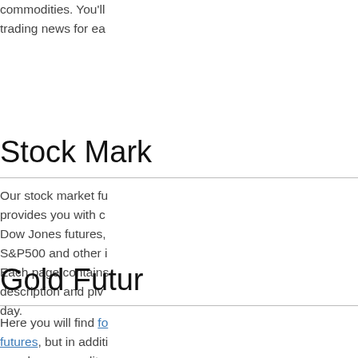commodities. You'll trading news for ea...
Stock Mark
Our stock market fu provides you with c Dow Jones futures, S&P500 and other i Each page contains description and pivo day.
Gold Futur
Here you will find fo futures, but in additi popular commodity silver futures and ot as platinum and co...